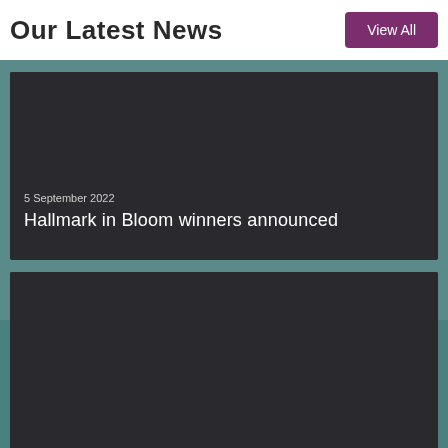Our Latest News
View All
[Figure (photo): Dark image card for news article: Hallmark in Bloom winners announced, dated 5 September 2022]
5 September 2022
Hallmark in Bloom winners announced
[Figure (photo): Dark image card for news article: Greenhill Manor raise money for..., dated 2 September 2022]
2 September 2022
Greenhill Manor raise money for...
[Figure (photo): Partially visible dark image card for a third news article]